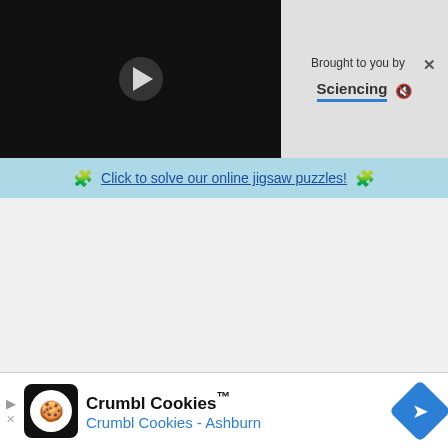[Figure (screenshot): Video player with black background and white play button triangle in center]
[Figure (screenshot): Branding panel showing 'Brought to you by' with close X button and 'Sciencing' underlined in blue with mute icon]
🧩 Click to solve our online jigsaw puzzles! 🧩
[Figure (screenshot): White/light grey advertisement space area]
The Saratoga Gaming & Raceway serves free soft drinks on the gaming floor and four ATMs for guests' convenience. Admission to the casino is free. The entire facility is smoke free, and you must b
[Figure (screenshot): Crumbl Cookies advertisement banner with logo, 'Crumbl Cookies™' title and 'Crumbl Cookies - Ashburn' subtitle with navigation icon]